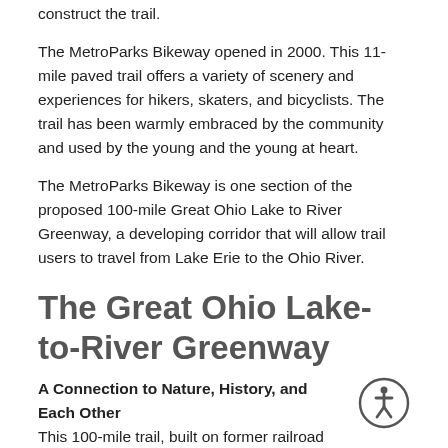construct the trail.
The MetroParks Bikeway opened in 2000. This 11-mile paved trail offers a variety of scenery and experiences for hikers, skaters, and bicyclists. The trail has been warmly embraced by the community and used by the young and the young at heart.
The MetroParks Bikeway is one section of the proposed 100-mile Great Ohio Lake to River Greenway, a developing corridor that will allow trail users to travel from Lake Erie to the Ohio River.
The Great Ohio Lake-to-River Greenway
A Connection to Nature, History, and Each Other This 100-mile trail, built on former railroad lines and adjacent corridors, will connect Lake Erie at Ashtabula Harbor with the Ohio River near East Liverpool. Traversing